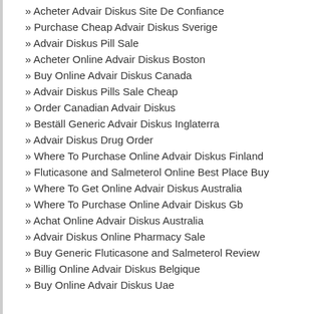» Acheter Advair Diskus Site De Confiance
» Purchase Cheap Advair Diskus Sverige
» Advair Diskus Pill Sale
» Acheter Online Advair Diskus Boston
» Buy Online Advair Diskus Canada
» Advair Diskus Pills Sale Cheap
» Order Canadian Advair Diskus
» Beställ Generic Advair Diskus Inglaterra
» Advair Diskus Drug Order
» Where To Purchase Online Advair Diskus Finland
» Fluticasone and Salmeterol Online Best Place Buy
» Where To Get Online Advair Diskus Australia
» Where To Purchase Online Advair Diskus Gb
» Achat Online Advair Diskus Australia
» Advair Diskus Online Pharmacy Sale
» Buy Generic Fluticasone and Salmeterol Review
» Billig Online Advair Diskus Belgique
» Buy Online Advair Diskus Uae